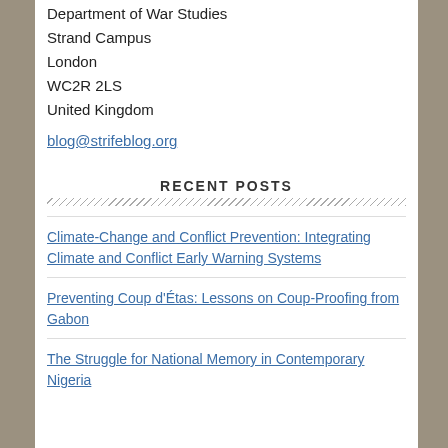Department of War Studies
Strand Campus
London
WC2R 2LS
United Kingdom
blog@strifeblog.org
RECENT POSTS
Climate-Change and Conflict Prevention: Integrating Climate and Conflict Early Warning Systems
Preventing Coup d'Étas: Lessons on Coup-Proofing from Gabon
The Struggle for National Memory in Contemporary Nigeria